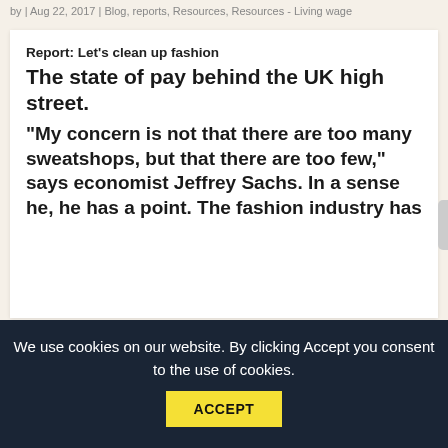by | Aug 22, 2017 | Blog, reports, Resources, Resources - Living wage
Report: Let's clean up fashion
The state of pay behind the UK high street.
"My concern is not that there are too many sweatshops, but that there are too few," says economist Jeffrey Sachs. In a sense he, he has a point. The fashion industry has
We use cookies on our website. By clicking Accept you consent to the use of cookies.